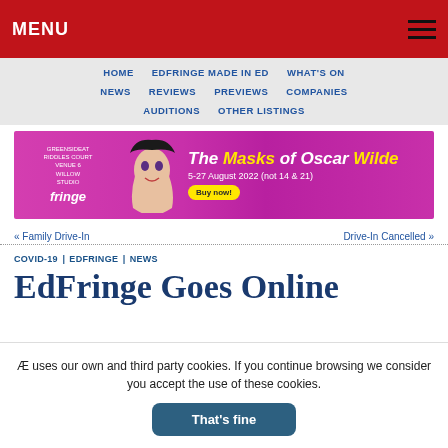MENU
HOME | EDFRINGE MADE IN ED | WHAT'S ON
NEWS | REVIEWS | PREVIEWS | COMPANIES
AUDITIONS | OTHER LISTINGS
[Figure (illustration): Advertisement banner for 'The Masks of Oscar Wilde' at the Edinburgh Fringe, 5-27 August 2022 (not 14 & 21), with a Buy now button, pink/magenta background]
« Family Drive-In
Drive-In Cancelled »
COVID-19 | EDFRINGE | NEWS
EdFringe Goes Online
Æ uses our own and third party cookies. If you continue browsing we consider you accept the use of these cookies.
That's fine